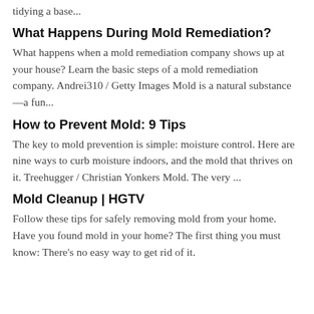tidying a base...
What Happens During Mold Remediation?
What happens when a mold remediation company shows up at your house? Learn the basic steps of a mold remediation company. Andrei310 / Getty Images Mold is a natural substance—a fun...
How to Prevent Mold: 9 Tips
The key to mold prevention is simple: moisture control. Here are nine ways to curb moisture indoors, and the mold that thrives on it. Treehugger / Christian Yonkers Mold. The very ...
Mold Cleanup | HGTV
Follow these tips for safely removing mold from your home. Have you found mold in your home? The first thing you must know: There's no easy way to get rid of it.